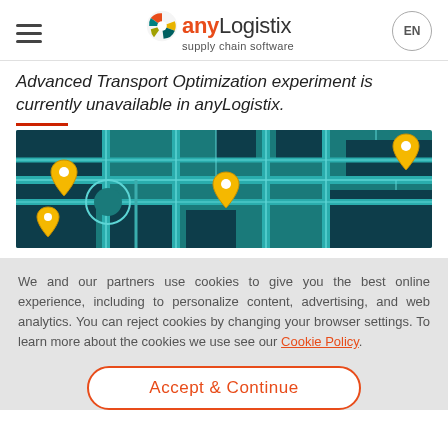anyLogistix supply chain software — EN
Advanced Transport Optimization experiment is currently unavailable in anyLogistix.
[Figure (map): Top-down illustrated city map with teal/dark navy color scheme showing street grid with yellow location pin markers at various intersections]
We and our partners use cookies to give you the best online experience, including to personalize content, advertising, and web analytics. You can reject cookies by changing your browser settings. To learn more about the cookies we use see our Cookie Policy.
Accept & Continue